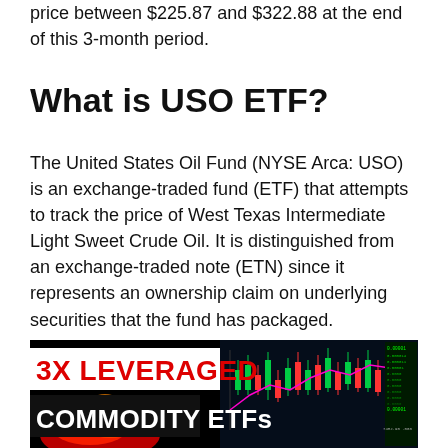price between $225.87 and $322.88 at the end of this 3-month period.
What is USO ETF?
The United States Oil Fund (NYSE Arca: USO) is an exchange-traded fund (ETF) that attempts to track the price of West Texas Intermediate Light Sweet Crude Oil. It is distinguished from an exchange-traded note (ETN) since it represents an ownership claim on underlying securities that the fund has packaged.
[Figure (photo): Promotional thumbnail image with text '3X LEVERAGED COMMODITY ETFs' over a dark background with trading chart lines and flame graphics]